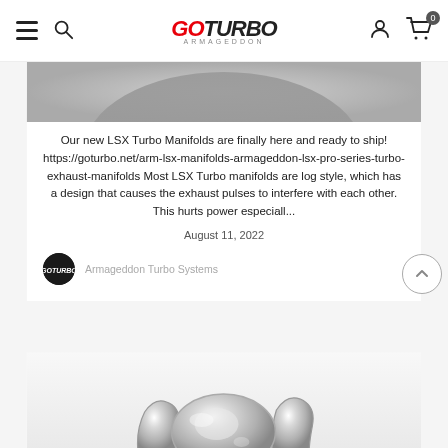GO TURBO ARMAGEDDON
[Figure (photo): Partial view of a red circular component, top-cropped from previous card]
Our new LSX Turbo Manifolds are finally here and ready to ship! https://goturbo.net/arm-lsx-manifolds-armageddon-lsx-pro-series-turbo-exhaust-manifolds Most LSX Turbo manifolds are log style, which has a design that causes the exhaust pulses to interfere with each other. This hurts power especiall...
August 11, 2022
Armageddon Turbo Systems
[Figure (photo): Polished silver/chrome turbo exhaust manifold on a light grey background]